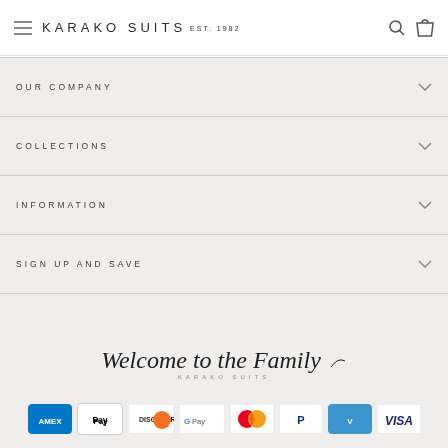KARAKO SUITS EST. 1982
OUR COMPANY
COLLECTIONS
INFORMATION
SIGN UP AND SAVE
[Figure (logo): Welcome to the Family - KARAKO SUITS script logo]
[Figure (other): Payment method icons: American Express, Apple Pay, Discover, Google Pay, Mastercard, PayPal, Venmo, Visa]